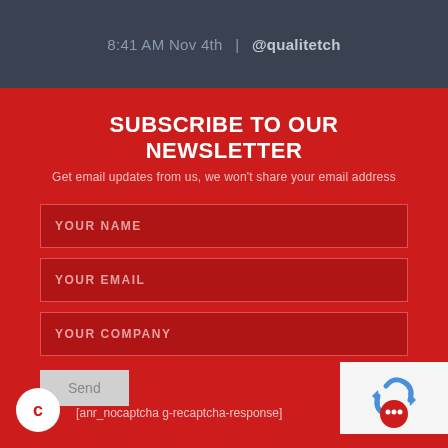8:41 AM Nov 4th | @qualitetch
SUBSCRIBE TO OUR NEWSLETTER
Get email updates from us, we won't share your email address
YOUR NAME
YOUR EMAIL
YOUR COMPANY
Send
[anr_nocaptcha g-recaptcha-response]